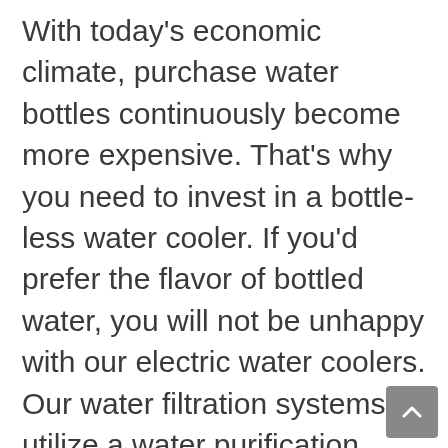With today's economic climate, purchase water bottles continuously become more expensive. That's why you need to invest in a bottle-less water cooler. If you'd prefer the flavor of bottled water, you will not be unhappy with our electric water coolers. Our water filtration systems utilize a water purification process which will use the ideal water filter. We provide you with water coolers for home and office water coolers. This particular water dispenser